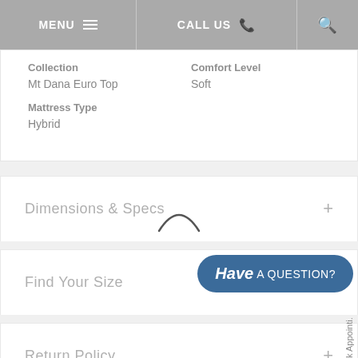MENU  CALL US
Collection
Mt Dana Euro Top
Comfort Level
Soft
Mattress Type
Hybrid
Dimensions & Specs
Find Your Size
Return Policy
[Figure (other): Have A QUESTION? button overlay — dark blue rounded rectangle with bold italic 'Have' and regular 'A QUESTION?' text in white]
k Appointi.